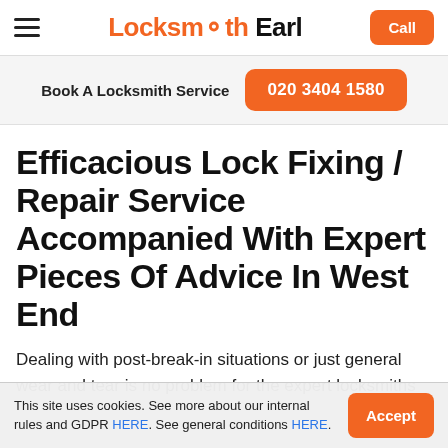Locksmith Earl — navigation bar with hamburger menu and Call button
Book A Locksmith Service  020 3404 1580
Efficacious Lock Fixing / Repair Service Accompanied With Expert Pieces Of Advice In West End
Dealing with post-break-in situations or just general wear and tear is no problem for the expert locksmiths
This site uses cookies. See more about our internal rules and GDPR HERE. See general conditions HERE.